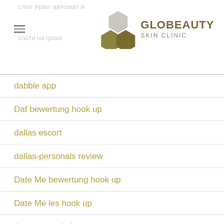GLOBEAUTY SKIN CLINIC
dabble app
Daf bewertung hook up
dallas escort
dallas-personals review
Date Me bewertung hook up
Date Me les hook up
datemyage dating
Dating by age service
Dating For Seniors seite hookup
Dating In Your 30s reviews
Dating In Your 40s services